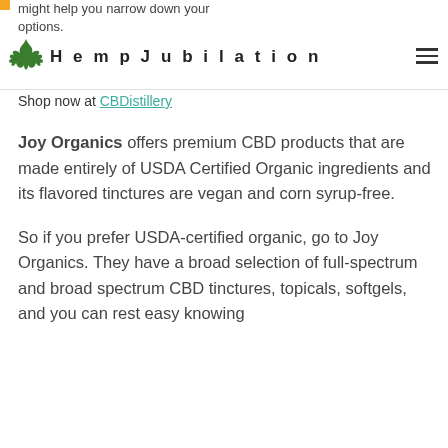might help you narrow down your options. HempJubilation
Shop now at CBDistillery
Joy Organics offers premium CBD products that are made entirely of USDA Certified Organic ingredients and its flavored tinctures are vegan and corn syrup-free.
So if you prefer USDA-certified organic, go to Joy Organics. They have a broad selection of full-spectrum and broad spectrum CBD tinctures, topicals, softgels, and you can rest easy knowing